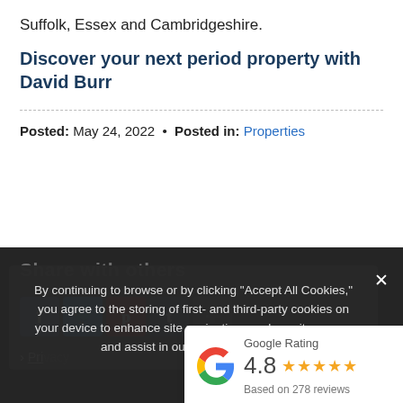Suffolk, Essex and Cambridgeshire.
Discover your next period property with David Burr
Posted: May 24, 2022  •  Posted in: Properties
Share with others
[Figure (screenshot): Cookie consent overlay with text: By continuing to browse or by clicking "Accept All Cookies," you agree to the storing of first- and third-party cookies on your device to enhance site navigation, analyse site usage, and assist in our marketing efforts.]
[Figure (infographic): Google Rating widget showing 4.8 stars based on 278 reviews]